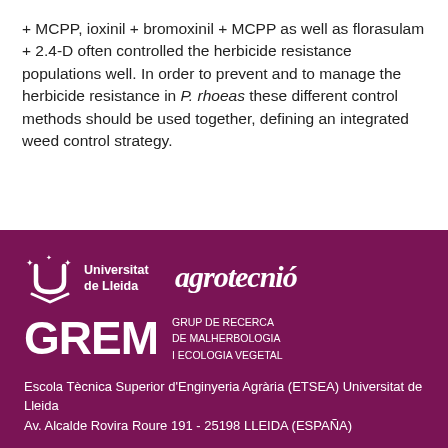+ MCPP, ioxinil + bromoxinil + MCPP as well as florasulam + 2.4-D often controlled the herbicide resistance populations well. In order to prevent and to manage the herbicide resistance in P. rhoeas these different control methods should be used together, defining an integrated weed control strategy.
[Figure (logo): Universitat de Lleida logo with stylized U symbol and stars, followed by Agrotecnio logo in white text on dark purple background, and GREM (Grup de Recerca de Malherbologia i Ecologia Vegetal) logo in large white letters]
Escola Tècnica Superior d'Enginyeria Agrària (ETSEA) Universitat de Lleida
Av. Alcalde Rovira Roure 191 - 25198 LLEIDA (ESPAÑA)